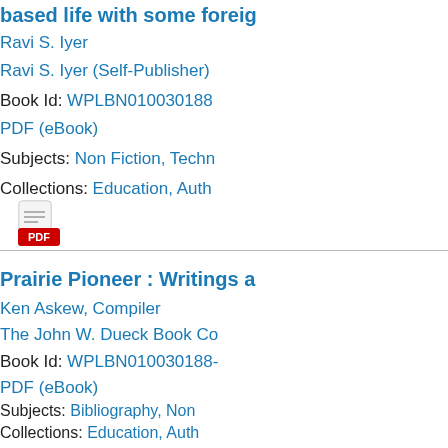based life with some foreig... (title truncated)
Ravi S. Iyer
Ravi S. Iyer (Self-Publisher)
Book Id: WPLBN010030188...
PDF (eBook)
Subjects: Non Fiction, Techn...
Collections: Education, Auth...
[Figure (other): PDF icon]
Prairie Pioneer : Writings a...
Ken Askew, Compiler
The John W. Dueck Book Co...
Book Id: WPLBN010030188-...
PDF (eBook)
Subjects: Bibliography, Non ...
Collections: Education, Auth...
[Figure (other): PDF icon]
Oscar Wild and Myself : Al...
Lord Alfred Douglas; VED fro...